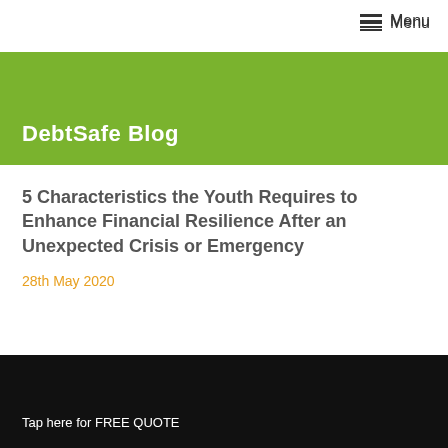Menu
DebtSafe Blog
5 Characteristics the Youth Requires to Enhance Financial Resilience After an Unexpected Crisis or Emergency
28th May 2020
[Figure (photo): Dark/black background image area below the article header]
Tap here for FREE QUOTE